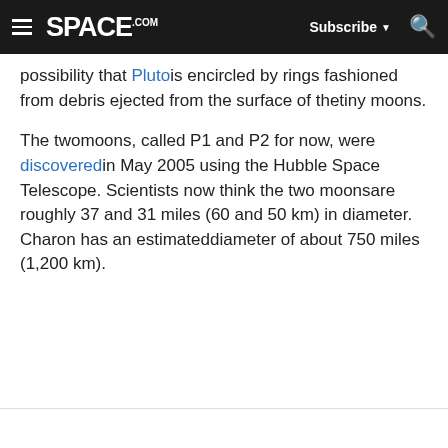SPACE.com — Subscribe, Search
possibility that Pluto is encircled by rings fashioned from debris ejected from the surface of the tiny moons.
The two moons, called P1 and P2 for now, were discovered in May 2005 using the Hubble Space Telescope. Scientists now think the two moons are roughly 37 and 31 miles (60 and 50 km) in diameter. Charon has an estimated diameter of about 750 miles (1,200 km).